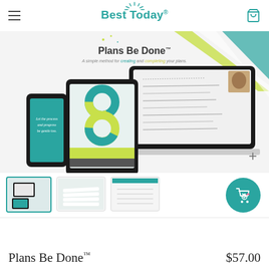Best Today®
[Figure (screenshot): Product promotional image showing Plans Be Done™ displayed on a laptop, tablet, and smartphone. Text reads 'Plans Be Done™ - A simple method for creating and completing your plans.']
[Figure (photo): Three product thumbnail images: first shows digital device mockups, second shows white cards, third shows a printed planning sheet with teal accent.]
[Figure (other): Teal circular add-to-cart button with shopping bag and heart icon]
Plans Be Done™
$57.00